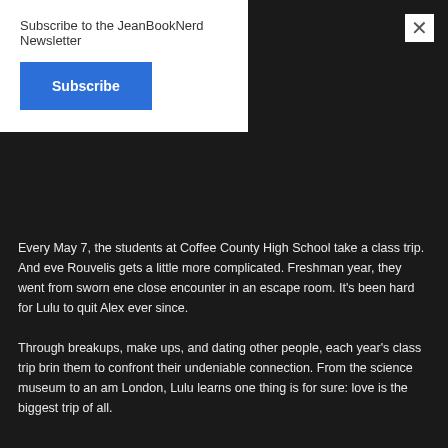Subscribe to the JeanBookNerd Newsletter
Subscribe
×
Every May 7, the students at Coffee County High School take a class trip. And eve Rouvelis gets a little more complicated. Freshman year, they went from sworn ene close encounter in an escape room. It's been hard for Lulu to quit Alex ever since.
Through breakups, make ups, and dating other people, each year's class trip brin them to confront their undeniable connection. From the science museum to an am London, Lulu learns one thing is for sure: love is the biggest trip of all.
Praise for MIRANDA KENNEALLY
“A clever way of telescoping the vast development that occurs over the four years… Weekly for Four Days of You and Me
“A contemporary novel that filled with real characters and gives an accurate portra… both male and female.” —Hypable for Catching Jordan
“If you want a book that will pull you in and engage you with characters who ring t…